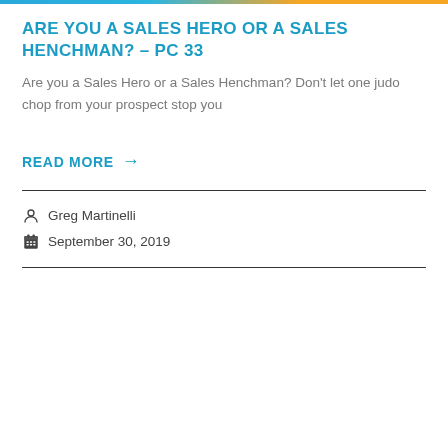ARE YOU A SALES HERO OR A SALES HENCHMAN? – PC 33
Are you a Sales Hero or a Sales Henchman? Don't let one judo chop from your prospect stop you
READ MORE →
Greg Martinelli
September 30, 2019